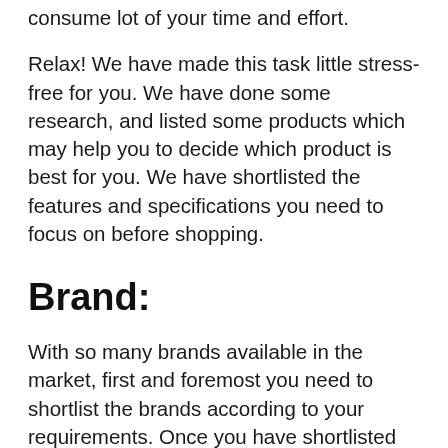consume lot of your time and effort.
Relax! We have made this task little stress-free for you. We have done some research, and listed some products which may help you to decide which product is best for you. We have shortlisted the features and specifications you need to focus on before shopping.
Brand:
With so many brands available in the market, first and foremost you need to shortlist the brands according to your requirements. Once you have shortlisted the brands you want to shop from, consider half of your work is done.